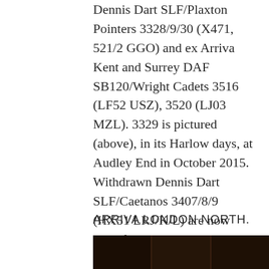Dennis Dart SLF/Plaxton Pointers 3328/9/30 (X471, 521/2 GGO) and ex Arriva Kent and Surrey DAF SB120/Wright Cadets 3516 (LF52 USZ), 3520 (LJ03 MZL). 3329 is pictured (above), in its Harlow days, at Audley End in October 2015. Withdrawn Dennis Dart SLF/Caetanos 3407/8/9 (HX51 LRJ/K/L) are now crew ferries, while Dart SLF/Pointer 3228 (P228 MKL) has returned to Kent and Surrey, for use as a crew ferry at Guildford.
ARRIVA LONDON NORTH.
[Figure (photo): Dark photograph of buses, mostly in shadow, showing the bottom portion of a bus scene.]